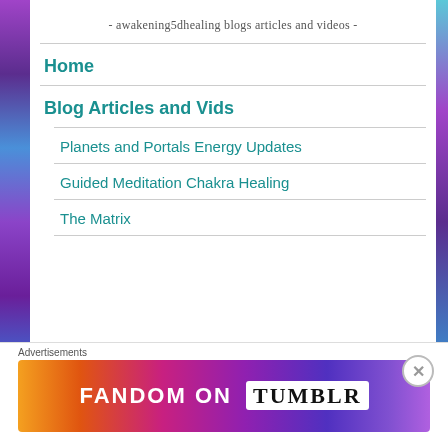- awakening5dhealing blogs articles and videos -
Home
Blog Articles and Vids
Planets and Portals Energy Updates
Guided Meditation Chakra Healing
The Matrix
Advertisements
[Figure (other): Fandom on Tumblr advertisement banner with colorful gradient background]